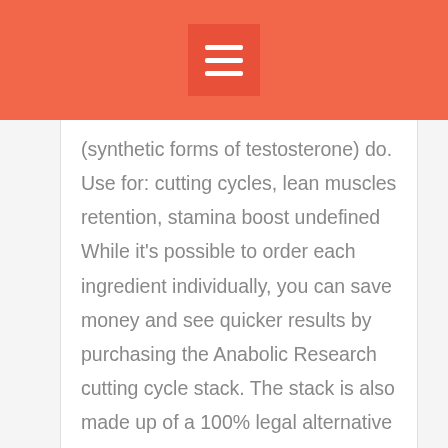(synthetic forms of testosterone) do. Use for: cutting cycles, lean muscles retention, stamina boost undefined  While it's possible to order each ingredient individually, you can save money and see quicker results by purchasing the Anabolic Research cutting cycle stack. The stack is also made up of a 100% legal alternative that provides similar results but is free from dangerous side effects, buy anabolic steroids online ireland . Men generally will not build muscle on Anavar alone, though it certainly helps to enhance athletic performance and fat loss,